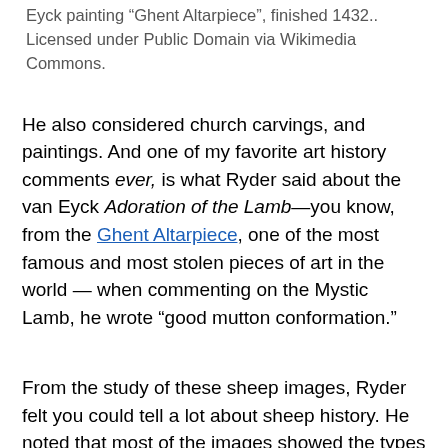Eyck painting “Ghent Altarpiece”, finished 1432.. Licensed under Public Domain via Wikimedia Commons.
He also considered church carvings, and paintings.  And one of my favorite art history comments ever, is what Ryder said about the van Eyck Adoration of the Lamb—you know, from the Ghent Altarpiece, one of the most famous and most stolen pieces of art in the world — when commenting on the Mystic Lamb, he wrote “good mutton conformation.”
From the study of these sheep images, Ryder felt you could tell a lot about sheep history.  He noted that most of the images showed the types of sheep found in the times and places the illustrations were made.
But he didn’t stop there.  These ancient documents were